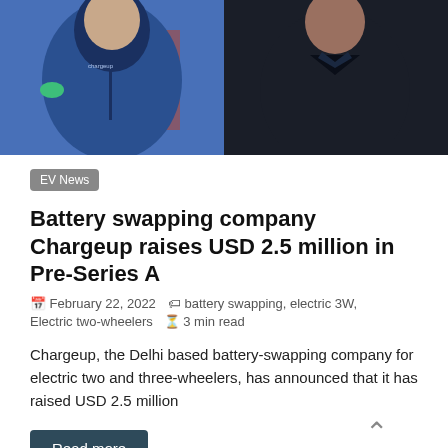[Figure (photo): Two men standing side by side. Left person wears a blue hoodie with a company logo. Right person wears a dark blazer. Photo appears to be a split/combined portrait of two individuals.]
EV News
Battery swapping company Chargeup raises USD 2.5 million in Pre-Series A
February 22, 2022   battery swapping, electric 3W, Electric two-wheelers   3 min read
Chargeup, the Delhi based battery-swapping company for electric two and three-wheelers, has announced that it has raised USD 2.5 million
Read more